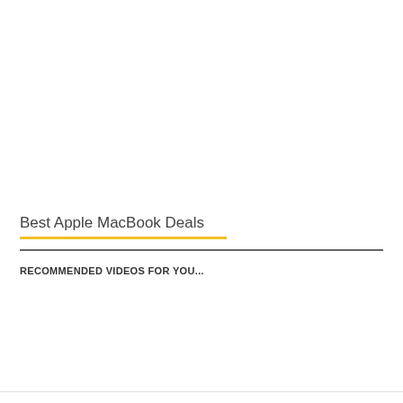Best Apple MacBook Deals
RECOMMENDED VIDEOS FOR YOU...